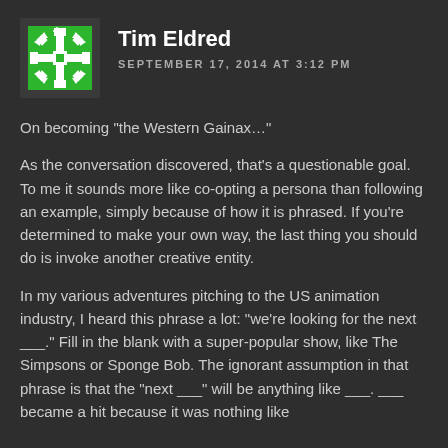[Figure (logo): Green and white decorative snowflake/star pattern avatar on dark background]
Tim Eldred
SEPTEMBER 17, 2014 AT 3:12 PM
On becoming “the Western Gainax…”
As the conversation discovered, that’s a questionable goal. To me it sounds more like co-opting a persona than following an example, simply because of how it is phrased. If you’re determined to make your own way, the last thing you should do is invoke another creative entity.
In my various adventures pitching to the US animation industry, I heard this phrase a lot: “we’re looking for the next ___.” Fill in the blank with a super-popular show, like The Simpsons or Sponge Bob. The ignorant assumption in that phrase is that the “next ___” will be anything like ___. ___ became a hit because it was nothing like